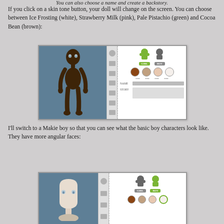You can also choose a name and create a backstory.
If you click on a skin tone button, your doll will change on the screen. You can choose between Ice Frosting (white), Strawberry Milk (pink), Pale Pistachio (green) and Cocoa Bean (brown):
[Figure (screenshot): Screenshot of a doll customization interface showing a dark-skinned doll body on the left, sidebar icons in the middle, and on the right: girl/boy character selection buttons, four skin tone circles, and name/story text fields]
I'll switch to a Makie boy so that you can see what the basic boy characters look like. They have more angular faces:
[Figure (screenshot): Screenshot of a doll customization interface showing a light-skinned boy doll head on the left, sidebar icons in the middle, and on the right: girl/boy character selection with BOY highlighted in green]